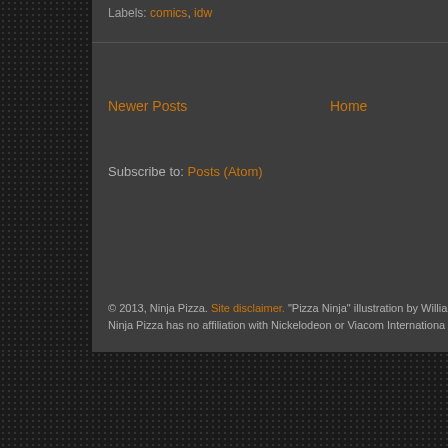Labels: comics, idw
Newer Posts
Home
Subscribe to: Posts (Atom)
© 2013, Ninja Pizza. Site disclaimer. "Pizza Ninja" illustration by Willia... Ninja Pizza has no affiliation with Nickelodeon or Viacom Internationa...